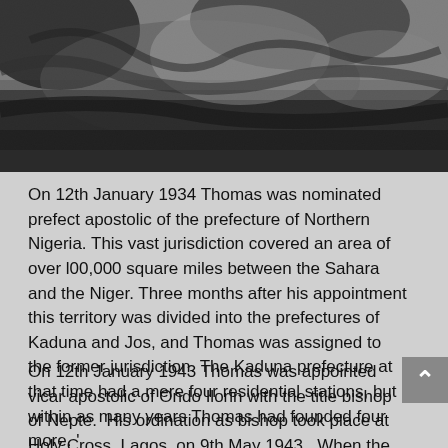[Figure (photo): Black and white photograph, partially visible at the top of the page, showing a rocky or natural outdoor scene.]
On 12th January 1934 Thomas was nominated prefect apostolic of the prefecture of Northern Nigeria. This vast jurisdiction covered an area of over l00,000 square miles between the Sahara and the Niger. Three months after his appointment this territory was divided into the prefectures of Kaduna and Jos, and Thomas was assigned to the former jurisdiction. The Kaduna prefecture at that time had a mere four residential stations, but within as many years Thomas had founded four more. '
On 12th January 1943 Thomas was appointed vicar apostolic of Ondo Ilorin with the title bishop of Nepte.  His ordination as bishop took place at Holy Cross, Lagos, on 9th May 1943.  When the Nigerian hierarchy was formally erected in 1950 Thomas became the first bishop of Ondo diocese.  He remained in charge of Ondo diocese until the time of his death.